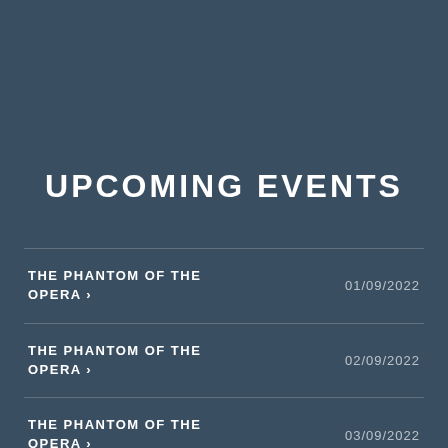UPCOMING EVENTS
THE PHANTOM OF THE OPERA › 01/09/2022
THE PHANTOM OF THE OPERA › 02/09/2022
THE PHANTOM OF THE OPERA › 03/09/2022